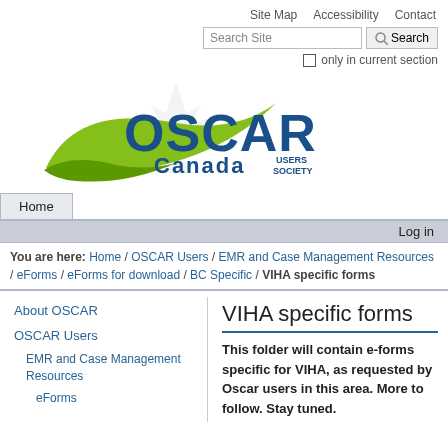Site Map   Accessibility   Contact
Search Site  [Search button]  only in current section
[Figure (logo): OSCAR Canada Users Society logo with maple leaf watermark, blue OSCAR text, green swoosh, and Canada Users Society text below]
Home
Log in
You are here: Home / OSCAR Users / EMR and Case Management Resources / eForms / eForms for download / BC Specific / VIHA specific forms
About OSCAR
OSCAR Users
EMR and Case Management Resources
eForms
VIHA specific forms
This folder will contain e-forms specific for VIHA, as requested by Oscar users in this area. More to follow. Stay tuned.